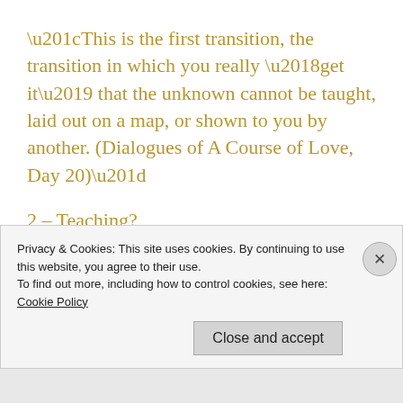“This is the first transition, the transition in which you really ‘get it’ that the unknown cannot be taught, laid out on a map, or shown to you by another. (Dialogues of A Course of Love, Day 20)”
2 – Teaching?
We cannot teach another what is buried deep within our hearts. Only our Self can accurately
Privacy & Cookies: This site uses cookies. By continuing to use this website, you agree to their use.
To find out more, including how to control cookies, see here:
Cookie Policy
Close and accept